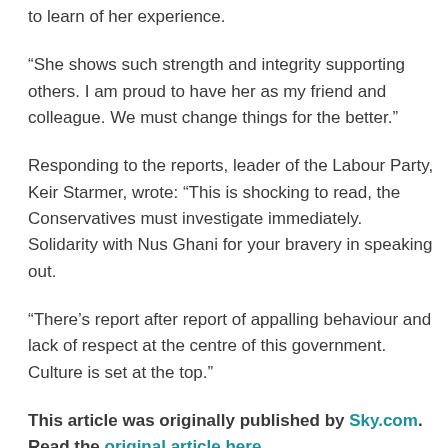to learn of her experience.
“She shows such strength and integrity supporting others. I am proud to have her as my friend and colleague. We must change things for the better.”
Responding to the reports, leader of the Labour Party, Keir Starmer, wrote: “This is shocking to read, the Conservatives must investigate immediately. Solidarity with Nus Ghani for your bravery in speaking out.
“There’s report after report of appalling behaviour and lack of respect at the centre of this government. Culture is set at the top.”
This article was originally published by Sky.com. Read the original article here.